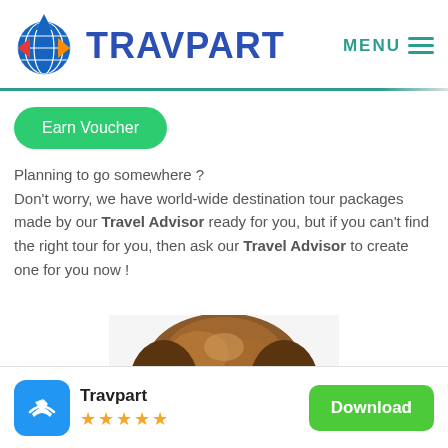[Figure (logo): Travpart globe logo with blue, red, and orange diamond arrows and a blue grid globe icon]
TRAVPART
MENU ≡
Earn Voucher
Planning to go somewhere ?
Don't worry, we have world-wide destination tour packages made by our Travel Advisor ready for you, but if you can't find the right tour for you, then ask our Travel Advisor to create one for you now !
[Figure (photo): Top of a person's head with brown hair, cropped, viewed from front/slight above]
Travpart
[Figure (logo): Travpart app icon - blue rounded square with white handshake icon]
★★★★★
Download